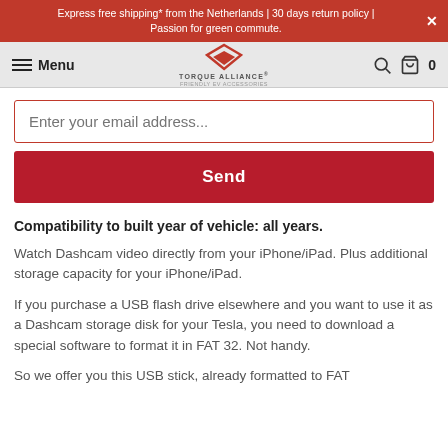Express free shipping* from the Netherlands | 30 days return policy | Passion for green commute.
Menu | TORQUE ALLIANCE | 0
Enter your email address...
Send
Compatibility to built year of vehicle: all years.
Watch Dashcam video directly from your iPhone/iPad. Plus additional storage capacity for your iPhone/iPad.
If you purchase a USB flash drive elsewhere and you want to use it as a Dashcam storage disk for your Tesla, you need to download a special software to format it in FAT 32. Not handy.
So we offer you this USB stick, already formatted to FAT